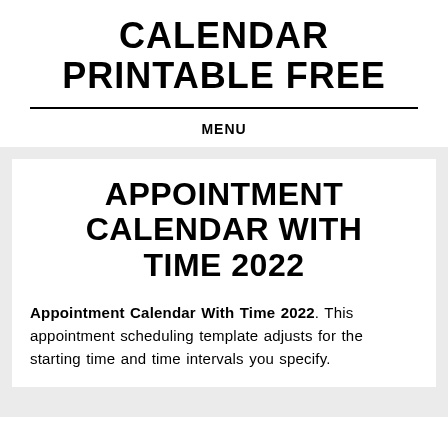CALENDAR PRINTABLE FREE
MENU
APPOINTMENT CALENDAR WITH TIME 2022
Appointment Calendar With Time 2022. This appointment scheduling template adjusts for the starting time and time intervals you specify.